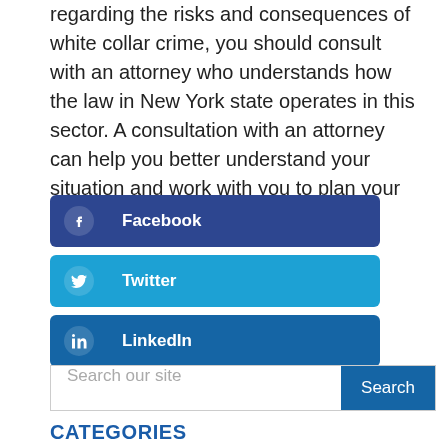regarding the risks and consequences of white collar crime, you should consult with an attorney who understands how the law in New York state operates in this sector. A consultation with an attorney can help you better understand your situation and work with you to plan your defense strategy.
[Figure (infographic): Three social sharing buttons: Facebook (dark blue), Twitter (cyan blue), LinkedIn (medium blue), each with icon and label]
[Figure (other): Search bar with placeholder 'Search our site' and a blue Search button]
CATEGORIES